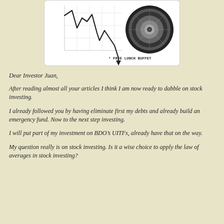[Figure (illustration): Cartoon illustration showing a declining stock chart on the left and a roulette wheel on the right, with text '* FREE LUNCH BUFFET' at the bottom right, inside a white rounded rectangle box.]
Dear Investor Juan,
After reading almost all your articles I think I am now ready to dabble on stock investing.
I already followed you by having eliminate first my debts and already build an emergency fund. Now to the next step investing.
I will put part of my investment on BDO’s UITFs, already have that on the way.
My question really is on stock investing. Is it a wise choice to apply the law of averages in stock investing?